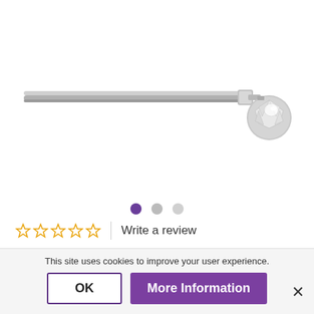[Figure (photo): A silver/nickel curtain rod with an acorn-shaped crystal finial at the right end, shown on a white background.]
Write a review
Looking for something a little different? The acorn finial is the perfect unique, ornamental design to add to your room setting. It's simple design will subtly compliment other accessories and ornaments but
This site uses cookies to improve your user experience.
OK
More Information